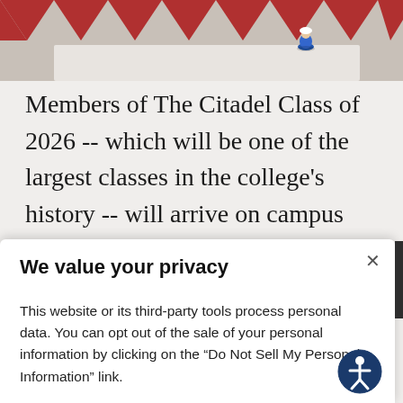[Figure (photo): Partial top portion of a photo showing a decorative floor with red and white diamond/chevron pattern and a small blue figurine on a white surface.]
Members of The Citadel Class of 2026 -- which will be one of the largest classes in the college's history -- will arrive on campus Saturday, Aug. 13.
We value your privacy
This website or its third-party tools process personal data. You can opt out of the sale of your personal information by clicking on the “Do Not Sell My Personal Information” link.
Do Not Sell My Personal Information